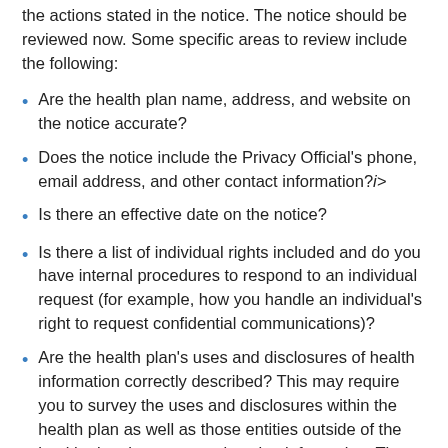the actions stated in the notice. The notice should be reviewed now. Some specific areas to review include the following:
Are the health plan name, address, and website on the notice accurate?
Does the notice include the Privacy Official's phone, email address, and other contact information?i>
Is there an effective date on the notice?
Is there a list of individual rights included and do you have internal procedures to respond to an individual request (for example, how you handle an individual's right to request confidential communications)?
Are the health plan's uses and disclosures of health information correctly described? This may require you to survey the uses and disclosures within the health plan as well as those entities outside of the health plan that may receive plan information. There are, of course, permitted uses and disclosures so your review needs to confirm if the uses and disclosures are accurate and permitted under the